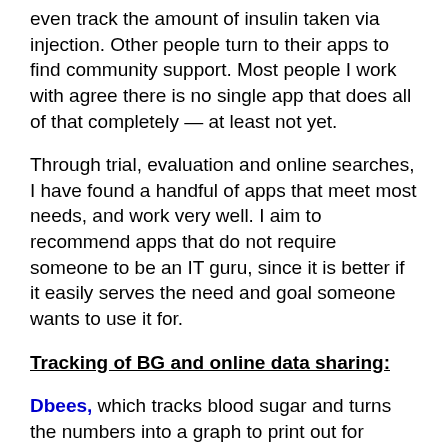even track the amount of insulin taken via injection. Other people turn to their apps to find community support. Most people I work with agree there is no single app that does all of that completely — at least not yet.
Through trial, evaluation and online searches, I have found a handful of apps that meet most needs, and work very well. I aim to recommend apps that do not require someone to be an IT guru, since it is better if it easily serves the need and goal someone wants to use it for.
Tracking of BG and online data sharing:
Dbees, which tracks blood sugar and turns the numbers into a graph to print out for sharing with health care providers